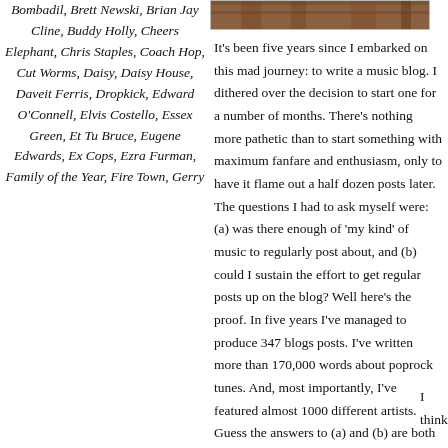[Figure (photo): Top image of records or music items, brownish tones]
Bombadil, Brett Newski, Brian Jay Cline, Buddy Holly, Cheers Elephant, Chris Staples, Coach Hop, Cut Worms, Daisy, Daisy House, Daveit Ferris, Dropkick, Edward O'Connell, Elvis Costello, Essex Green, Et Tu Bruce, Eugene Edwards, Ex Cops, Ezra Furman, Family of the Year, Fire Town, Gerry
It's been five years since I embarked on this mad journey: to write a music blog. I dithered over the decision to start one for a number of months. There's nothing more pathetic than to start something with maximum fanfare and enthusiasm, only to have it flame out a half dozen posts later. The questions I had to ask myself were: (a) was there enough of 'my kind' of music to regularly post about, and (b) could I sustain the effort to get regular posts up on the blog? Well here's the proof. In five years I've managed to produce 347 blogs posts. I've written more than 170,000 words about poprock tunes. And, most importantly, I've featured almost 1000 different artists. Guess the answers to (a) and (b) are both a resounding yes!
I think
[Figure (photo): Bottom image showing shelves of records or books, warm brownish tones]